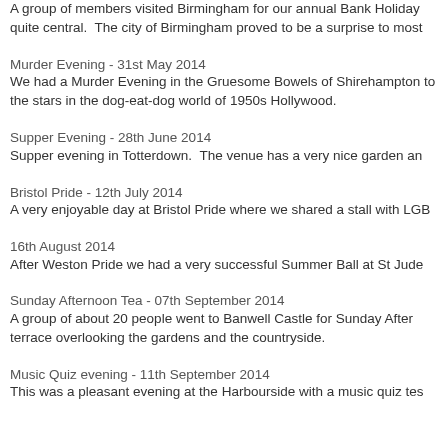A group of members visited Birmingham for our annual Bank Holiday quite central.  The city of Birmingham proved to be a surprise to most
Murder Evening - 31st May 2014
We had a Murder Evening in the Gruesome Bowels of Shirehampton to the stars in the dog-eat-dog world of 1950s Hollywood.
Supper Evening - 28th June 2014
Supper evening in Totterdown.  The venue has a very nice garden an
Bristol Pride - 12th July 2014
A very enjoyable day at Bristol Pride where we shared a stall with LGB
16th August 2014
After Weston Pride we had a very successful Summer Ball at St Jude
Sunday Afternoon Tea - 07th September 2014
A group of about 20 people went to Banwell Castle for Sunday After terrace overlooking the gardens and the countryside.
Music Quiz evening - 11th September 2014
This was a pleasant evening at the Harbourside with a music quiz tes